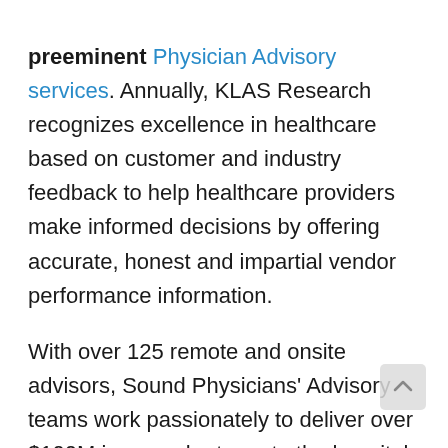preeminent Physician Advisory services. Annually, KLAS Research recognizes excellence in healthcare based on customer and industry feedback to help healthcare providers make informed decisions by offering accurate, honest and impartial vendor performance information.

With over 125 remote and onsite advisors, Sound Physicians' Advisory teams work passionately to deliver over $100M in annual returns to the hospitals they serve. Their physician advisors are experts in case reviews and collaborate with attending physicians and case management to determine correct patient status. Through Sound's experience in peer-to-peer reviews and overturning denials, they ensure hospitals are appropriately reimbursed for the care they provide and develop long-term solutions that